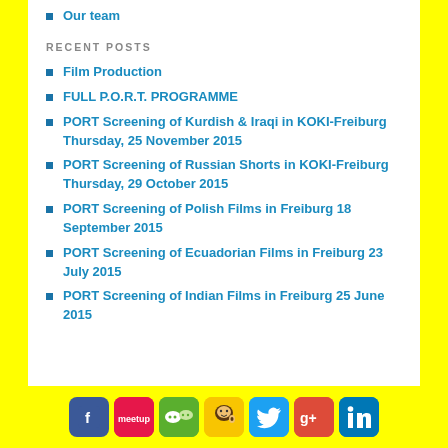Our team
RECENT POSTS
Film Production
FULL P.O.R.T. PROGRAMME
PORT Screening of Kurdish & Iraqi in KOKI-Freiburg Thursday, 25 November 2015
PORT Screening of Russian Shorts in KOKI-Freiburg Thursday, 29 October 2015
PORT Screening of Polish Films in Freiburg 18 September 2015
PORT Screening of Ecuadorian Films in Freiburg 23 July 2015
PORT Screening of Indian Films in Freiburg 25 June 2015
Social media icons: Facebook, Meetup, WeChat, Mailchimp, Twitter, Google+, LinkedIn